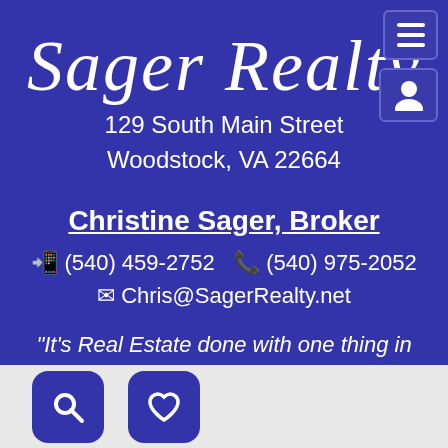Sager Realty
129 South Main Street
Woodstock, VA 22664
Christine Sager, Broker
☎ (540) 459-2752  ✆ (540) 975-2052
✉ Chris@SagerRealty.net
"It's Real Estate done with one thing in mind...You!"